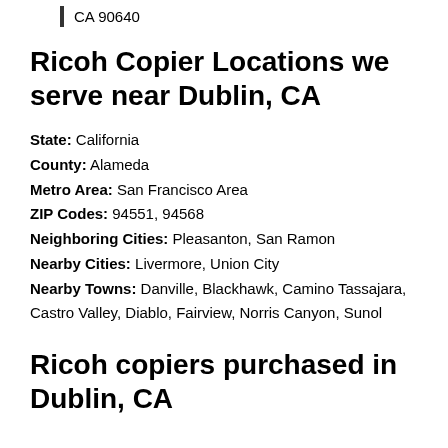CA 90640
Ricoh Copier Locations we serve near Dublin, CA
State: California
County: Alameda
Metro Area: San Francisco Area
ZIP Codes: 94551, 94568
Neighboring Cities: Pleasanton, San Ramon
Nearby Cities: Livermore, Union City
Nearby Towns: Danville, Blackhawk, Camino Tassajara, Castro Valley, Diablo, Fairview, Norris Canyon, Sunol
Ricoh copiers purchased in Dublin, CA